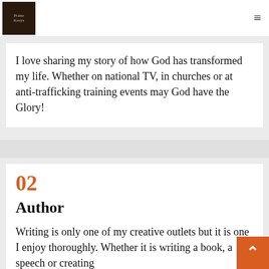Praise Keeys (logo) — navigation hamburger menu
I love sharing my story of how God has transformed my life. Whether on national TV, in churches or at anti-trafficking training events may God have the Glory!
02
Author
Writing is only one of my creative outlets but it is one I enjoy thoroughly. Whether it is writing a book, a speech or creating